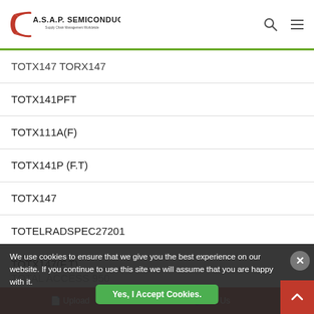A.S.A.P. Semiconductor — Supply Chain Management Worldwide
TOTX147 TORX147
TOTX141PFT
TOTX111A(F)
TOTX141P (F.T)
TOTX147
TOTELRADSPEC27201
TOTX147(F.T)
TOTX141P/TX141P
TOTX142L(F)
TOTX 178 -TX 178
TOTAL ACCESS 950
TOTELRADSPEC2620
TOTELRADSPEC2...
We use cookies to ensure that we give you the best experience on our website. If you continue to use this site we will assume that you are happy with it.
Yes, I Accept Cookies.
Upload | Call Us